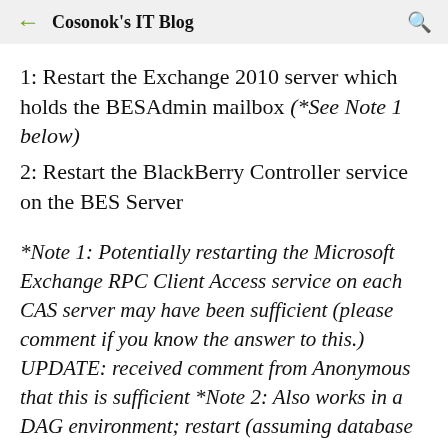Cosonok's IT Blog
1: Restart the Exchange 2010 server which holds the BESAdmin mailbox (*See Note 1 below)
2: Restart the BlackBerry Controller service on the BES Server
*Note 1: Potentially restarting the Microsoft Exchange RPC Client Access service on each CAS server may have been sufficient (please comment if you know the answer to this.) UPDATE: received comment from Anonymous that this is sufficient *Note 2: Also works in a DAG environment; restart (assuming database copy statuses are either mounted or healthy) which one Exchange holds the…